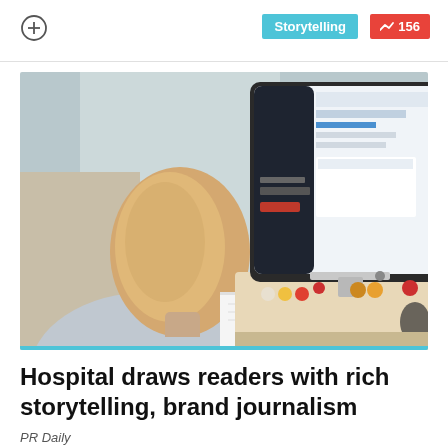[Figure (other): Plus icon circle button in top-left of header bar]
Storytelling   ↗ 156
[Figure (photo): Woman with reddish-blonde hair seen from behind, sitting at a desk looking at a large computer monitor displaying a website. She is holding a small notepad. Various desk accessories visible near the monitor base.]
Hospital draws readers with rich storytelling, brand journalism
PR Daily